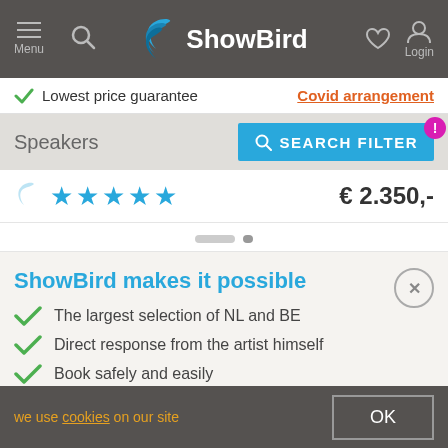ShowBird — Menu, Search, Login navigation bar
✓ Lowest price guarantee   Covid arrangement
Speakers   SEARCH FILTER
★★★★★   € 2.350,-
ShowBird makes it possible
The largest selection of NL and BE
Direct response from the artist himself
Book safely and easily
Lowest price guarantee
ⓘ How it works
we use cookies on our site   OK